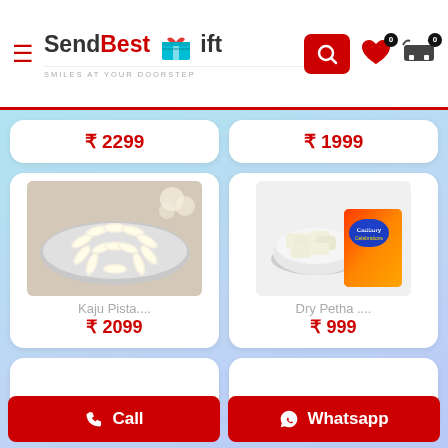SendBestGift — SMILES AT YOUR DOORSTEP
₹ 2299
₹ 1999
[Figure (photo): Kaju Pista rolls arranged on a silver tray with flowers in the background]
[Figure (photo): Dry Petha pieces in a glass bowl next to a Cadbury Celebrations gift box]
Kaju Pista....
₹ 2099
Dry Petha ....
₹ 999
Call
Whatsapp